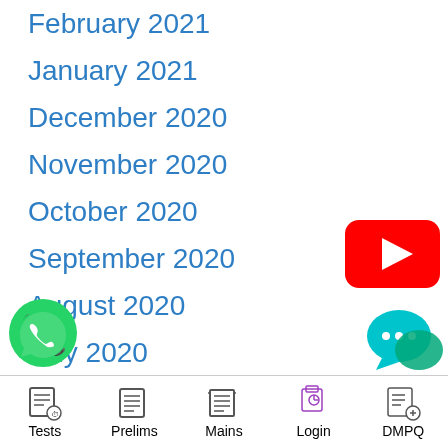February 2021
January 2021
December 2020
November 2020
October 2020
September 2020
August 2020
July 2020
June 2020
May 2020
April 2020
March 2020
[Figure (logo): YouTube play button red logo]
[Figure (logo): WhatsApp green phone icon]
[Figure (logo): Chat bubble icon in teal/green]
Tests   Prelims   Mains   Login   DMPQ